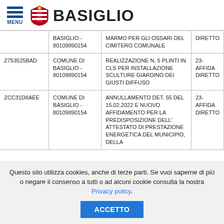MENU | BASIGLIO
|  | Stazione Appaltante | Oggetto | Tipo |
| --- | --- | --- | --- |
|  | BASIGLIO - 80109890154 | MARMO PER GLI OSSARI DEL CIMITERO COMUNALE | DIRETTO |
| Z753525BAD | COMUNE DI BASIGLIO - 80109890154 | REALIZZAZIONE N. 5 PLINTI IN CLS PER INSTALLAZIONE SCULTURE GIARDINO DEI GIUSTI DIFFUSO | 23-AFFIDA DIRETTO |
| ZCC31D8AEE | COMUNE DI BASIGLIO - 80109890154 | ANNULLAMENTO DET. 55 DEL 15.02.2022 E NUOVO AFFIDAMENTO PER LA PREDISPOSIZIONE DELL'ATTESTATO DI PRESTAZIONE ENERGETICA DEL MUNICIPIO, DELLA | 23-AFFIDA DIRETTO |
Questo sito utilizza cookies, anche di terze parti. Se vuoi saperne di più o negare il consenso a tutti o ad alcuni cookie consulta la nostra Privacy policy.